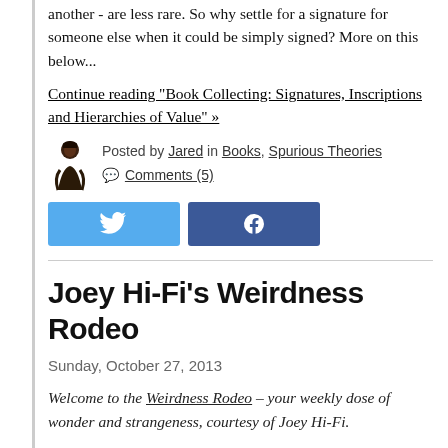another - are less rare. So why settle for a signature for someone else when it could be simply signed? More on this below...
Continue reading "Book Collecting: Signatures, Inscriptions and Hierarchies of Value" »
Posted by Jared in Books, Spurious Theories
Comments (5)
[Figure (other): Twitter and Facebook share buttons]
Joey Hi-Fi's Weirdness Rodeo
Sunday, October 27, 2013
Welcome to the Weirdness Rodeo – your weekly dose of wonder and strangeness, courtesy of Joey Hi-Fi.